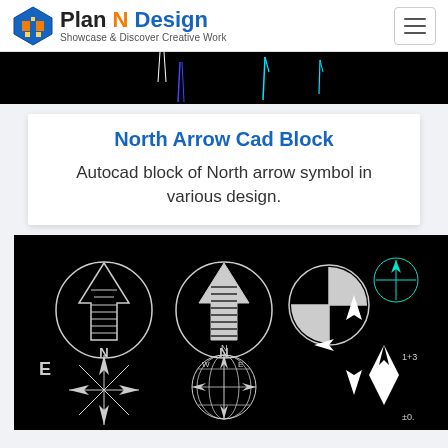Plan N Design — Showcase & Discover Creative Work
[Figure (screenshot): Top portion of a black background CAD drawing showing vertical line/arrow symbols in white, blue, and cyan on a dark background]
North Arrow Cad Block
Autocad block of North arrow symbol in various design.
[Figure (screenshot): Black background CAD drawing showing various North arrow symbols and compass rose designs in white/gray lines, including circle arrows with N labels, compass roses with cardinal directions, crosshair symbols, and decorative north arrow styles]